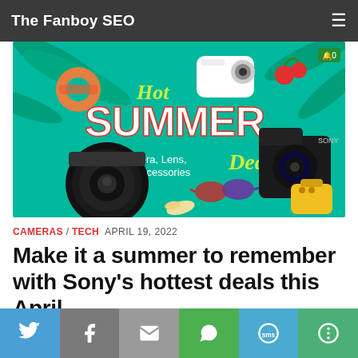The Fanboy SEO
[Figure (illustration): Hot Summer Deals banner for Sony cameras, lenses, and accessories on a teal/green background with summer-themed decorations including a camera lens, mirrorless camera body, compact camera, sunglasses, travel bag, and tropical foliage.]
CAMERAS / TECH  APRIL 19, 2022
Make it a summer to remember with Sony's hottest deals this April